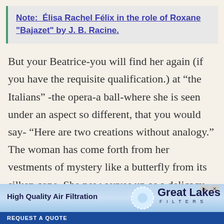Note:  Élisa Rachel Félix in the role of Roxane "Bajazet" by J. B. Racine.
But your Beatrice-you will find her again (if you have the requisite qualification.) at “the Italians” -the opera-a ball-where she is seen under an aspect so different, that you would say- “Here are two creations without analogy.” The woman has come forth from her vestments of mystery like a butterfly from its silken cone. She now serves up as a delicacy, to your enraptured eyes, those
[Figure (other): Advertisement banner for Great Lakes Filters showing 'High Quality Air Filtration' text and 'REQUEST A QUOTE' call to action button]